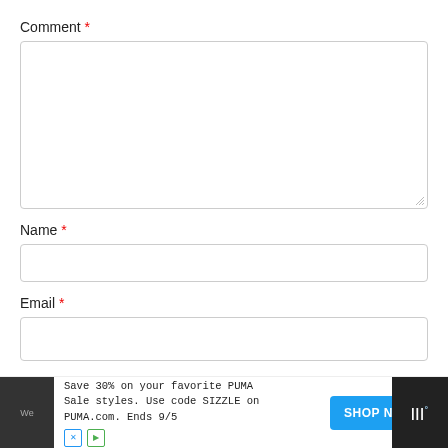Comment *
[Figure (screenshot): Empty comment textarea input box with resize handle at bottom right]
Name *
[Figure (screenshot): Empty name text input box]
Email *
[Figure (screenshot): Empty email text input box]
[Figure (screenshot): Advertisement bar at bottom: 'Save 30% on your favorite PUMA Sale styles. Use code SIZZLE on PUMA.com. Ends 9/5' with SHOP NOW button]